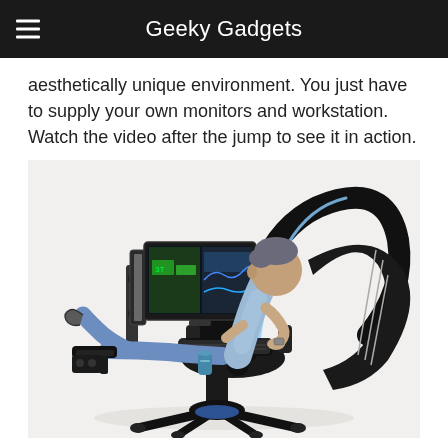Geeky Gadgets
aesthetically unique environment. You just have to supply your own monitors and workstation. Watch the video after the jump to see it in action.
[Figure (photo): A man seated in a large, futuristic ergonomic workstation chair with a circular overhead arc frame, multiple monitors mounted on an arm to the left, a keyboard tray, footrest with his feet up, and a drink holder. The chair is black and the background is white/light grey. Blue LED lighting visible at the base.]